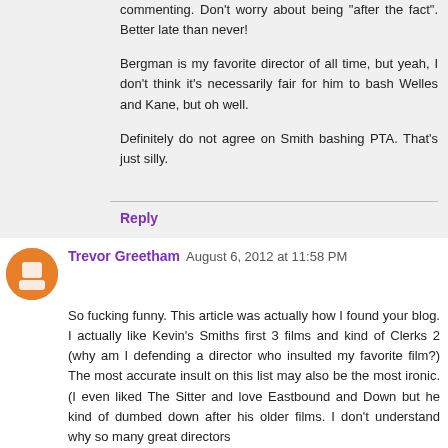commenting. Don't worry about being "after the fact". Better late than never!
Bergman is my favorite director of all time, but yeah, I don't think it's necessarily fair for him to bash Welles and Kane, but oh well.
Definitely do not agree on Smith bashing PTA. That's just silly.
Reply
Trevor Greetham  August 6, 2012 at 11:58 PM
So fucking funny. This article was actually how I found your blog. I actually like Kevin's Smiths first 3 films and kind of Clerks 2 (why am I defending a director who insulted my favorite film?) The most accurate insult on this list may also be the most ironic. (I even liked The Sitter and love Eastbound and Down but he kind of dumbed down after his older films. I don't understand why so many great directors